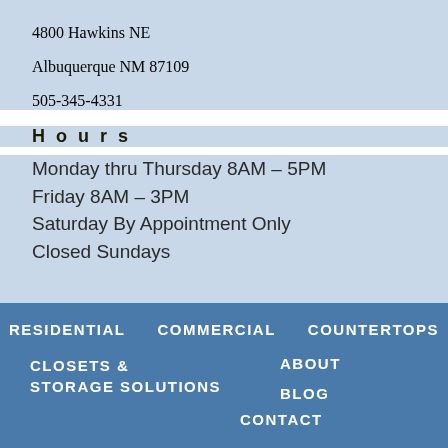4800 Hawkins NE
Albuquerque NM 87109
505-345-4331
Hours
Monday thru Thursday 8AM – 5PM
Friday 8AM – 3PM
Saturday By Appointment Only
Closed Sundays
RESIDENTIAL
COMMERCIAL
COUNTERTOPS
CLOSETS & STORAGE SOLUTIONS
ABOUT
BLOG
CONTACT
[Figure (logo): BBB Accredited Business logo with BBB Rating: A+ as of 8/18/2022, Click for Profile]